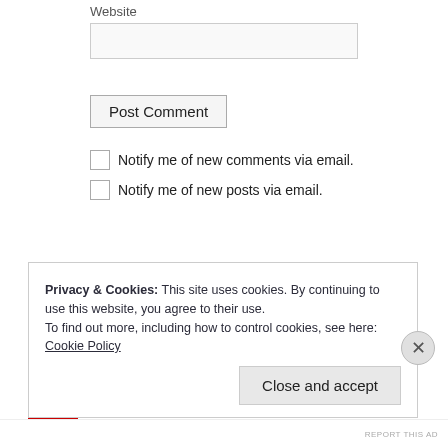Website
Post Comment
Notify me of new comments via email.
Notify me of new posts via email.
Privacy & Cookies: This site uses cookies. By continuing to use this website, you agree to their use.
To find out more, including how to control cookies, see here: Cookie Policy
Close and accept
REPORT THIS AD